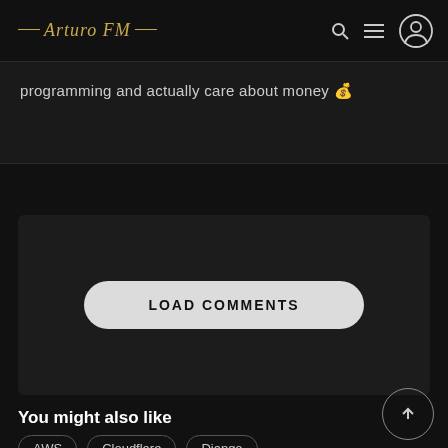— Arturo FM —
programming and actually care about money 💰
[Figure (screenshot): LOAD COMMENTS button – a pill-shaped light grey button with uppercase black text 'LOAD COMMENTS' centered within a dark section]
You might also like
AWS
Cloudflare
Django